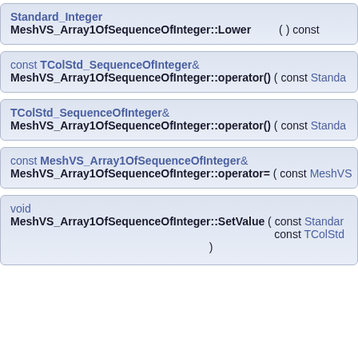Standard_Integer
MeshVS_Array1OfSequenceOfInteger::Lower ( ) const
const TColStd_SequenceOfInteger&
MeshVS_Array1OfSequenceOfInteger::operator() ( const Standa...
TColStd_SequenceOfInteger&
MeshVS_Array1OfSequenceOfInteger::operator() ( const Standa...
const MeshVS_Array1OfSequenceOfInteger&
MeshVS_Array1OfSequenceOfInteger::operator= ( const MeshVS...
void
MeshVS_Array1OfSequenceOfInteger::SetValue ( const Standard...
    const TColStd...
)